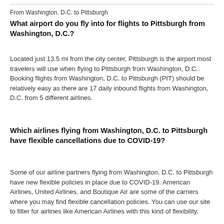From Washington, D.C. to Pittsburgh
What airport do you fly into for flights to Pittsburgh from Washington, D.C.?
Located just 13.5 mi from the city center, Pittsburgh is the airport most travelers will use when flying to Pittsburgh from Washington, D.C.. Booking flights from Washington, D.C. to Pittsburgh (PIT) should be relatively easy as there are 17 daily inbound flights from Washington, D.C. from 5 different airlines.
Which airlines flying from Washington, D.C. to Pittsburgh have flexible cancellations due to COVID-19?
Some of our airline partners flying from Washington, D.C. to Pittsburgh have new flexible policies in place due to COVID-19. American Airlines, United Airlines, and Boutique Air are some of the carriers where you may find flexible cancellation policies. You can use our site to filter for airlines like American Airlines with this kind of flexibility.